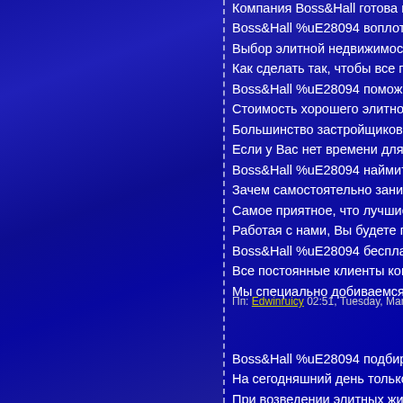Компания Boss&Hall готова п... Boss&Hall %uE28094 воплот... Выбор элитной недвижимост... Как сделать так, чтобы все по... Boss&Hall %uE28094 поможе... Стоимость хорошего элитно... Большинство застройщиков п... Если у Вас нет времени для з... Boss&Hall %uE28094 наймит... Зачем самостоятельно занима... Самое приятное, что лучшие... Работая с нами, Вы будете по... Boss&Hall %uE28094 бесплат... Все постоянные клиенты ком... Мы специально добиваемся т...
Пп: Edwinruicy 02:51, Tuesday, Mar 12, 2019 ×
Boss&Hall %uE28094 подбир... На сегодняшний день только... При возведении элитных жил... Компания Boss&Hall готова п... Boss&Hall %uE28094...